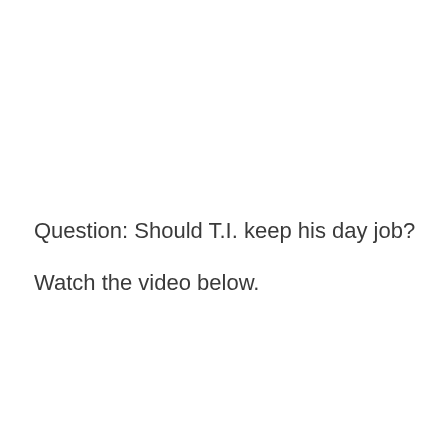Question: Should T.I. keep his day job?
Watch the video below.